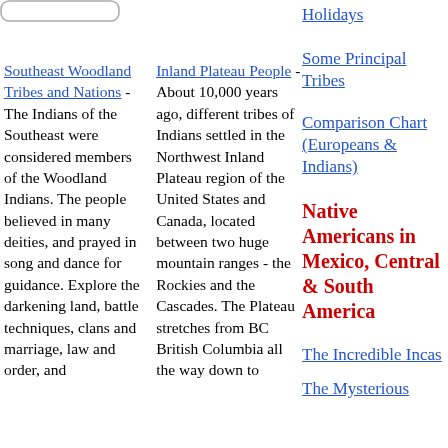[Figure (other): Rounded rectangle box outline in top-left corner]
Holidays
Southeast Woodland Tribes and Nations - The Indians of the Southeast were considered members of the Woodland Indians. The people believed in many deities, and prayed in song and dance for guidance. Explore the darkening land, battle techniques, clans and marriage, law and order, and
Inland Plateau People - About 10,000 years ago, different tribes of Indians settled in the Northwest Inland Plateau region of the United States and Canada, located between two huge mountain ranges - the Rockies and the Cascades. The Plateau stretches from BC British Columbia all the way down to
Some Principal Tribes
Comparison Chart (Europeans & Indians)
Native Americans in Mexico, Central & South America
The Incredible Incas
The Mysterious